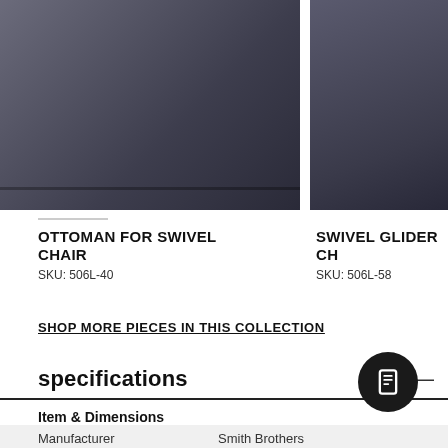[Figure (photo): Dark gray leather ottoman, bottom portion visible against white background]
[Figure (photo): Dark gray leather swivel glider chair, partial view on right side]
OTTOMAN FOR SWIVEL CHAIR
SKU: 506L-40
SWIVEL GLIDER CH...
SKU: 506L-58
SHOP MORE PIECES IN THIS COLLECTION
specifications
Item & Dimensions
|  |  |
| --- | --- |
| Manufacturer | Smith Brothers |
Item & Dimensions